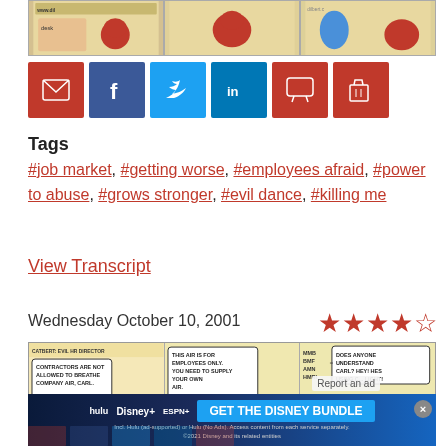[Figure (illustration): Three-panel Dilbert comic strip at top of page showing cartoon characters]
[Figure (infographic): Social sharing buttons: email (red), Facebook (blue), Twitter (blue), LinkedIn (blue), comment (red), cart (red)]
Tags
#job market, #getting worse, #employees afraid, #power to abuse, #grows stronger, #evil dance, #killing me
View Transcript
Wednesday October 10, 2001
[Figure (other): 4.5 out of 5 star rating shown as red stars]
[Figure (illustration): Three-panel Dilbert comic strip: Catbert Evil HR Director telling Carl contractors are not allowed to breathe company air; second panel says this air is for employees only you need to supply your own air; third panel shows MMB BMF AMN HMRI speech and Does anyone understand Carl? Hey! He's using C... Light!]
[Figure (screenshot): Advertisement banner: Hulu Disney+ ESPN+ GET THE DISNEY BUNDLE. Incl. Hulu (ad-supported) or Hulu (No Ads). Access content from each service separately. ©2021 Disney and its related entities]